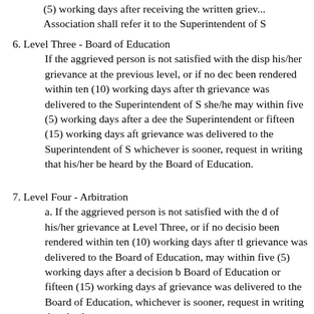(5) working days after receiving the written grievance, Association shall refer it to the Superintendent of S
6. Level Three - Board of Education
If the aggrieved person is not satisfied with the disposition of his/her grievance at the previous level, or if no decision has been rendered within ten (10) working days after the grievance was delivered to the Superintendent of S she/he may within five (5) working days after a decision by the Superintendent or fifteen (15) working days after grievance was delivered to the Superintendent of S whichever is sooner, request in writing that his/her be heard by the Board of Education.
7. Level Four - Arbitration
a. If the aggrieved person is not satisfied with the disposition of his/her grievance at Level Three, or if no decision has been rendered within ten (10) working days after the grievance was delivered to the Board of Education, may within five (5) working days after a decision by the Board of Education or fifteen (15) working days after grievance was delivered to the Board of Education, whichever is sooner, request in writing that the A